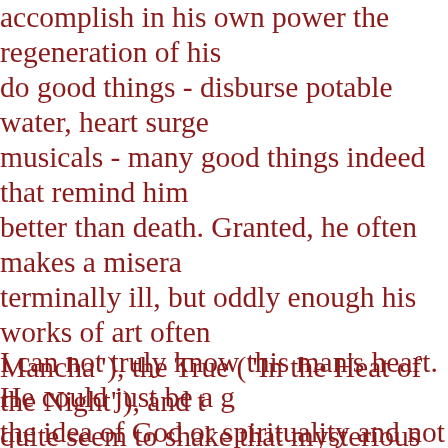accomplish in his own power the regeneration of his do good things - disburse potable water, heart surge musicals - many good things indeed that remind him better than death. Granted, he often makes a misera terminally ill, but oddly enough his works of art often Mancha"), the True ("In the Heat of the Night"), and t quite seem to shake that mysterious lust for eternity This leads us to part b of question 1. Essentially, it asks, c Goodness and Beauty through a work of art (say a s to recognize Him as the Creator? I think this question is asking more than I bargained for, a I felt like Bon Jovi was recognizing his Creator on that no question is Are my eyes and ears open to recognizing G anywhere and anytime.
I can not truly know this man's heart. He could just be a g the idea of God or spirituality and not God Himself. At th that Bon Jovi was transported through the truth and beaut truth of the lyric "Hallelujah" (praise ye the Lord) to ad